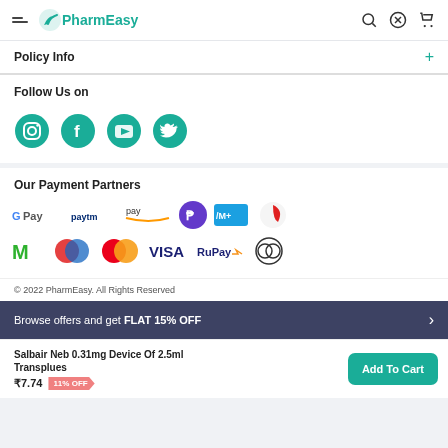PharmEasy
Policy Info
Follow Us on
[Figure (illustration): Social media icons: Instagram, Facebook, YouTube, Twitter in teal circles]
Our Payment Partners
[Figure (illustration): Payment partner logos: G Pay, Paytm, Amazon Pay, PhonePe, Mobikwik+, Airtel, Mobikwik, Maestro, Mastercard, VISA, RuPay, Diners Club]
© 2022 PharmEasy. All Rights Reserved
Browse offers and get FLAT 15% OFF
Salbair Neb 0.31mg Device Of 2.5ml Transplues ₹7.74  11% OFF